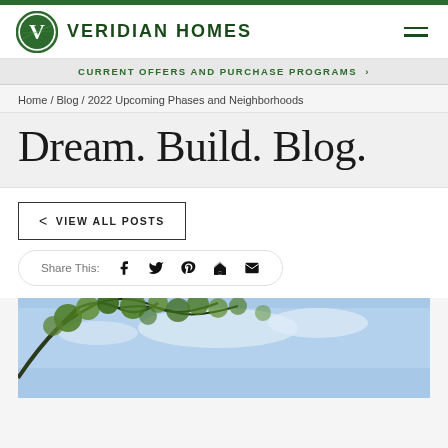Veridian Homes
CURRENT OFFERS AND PURCHASE PROGRAMS >
Home / Blog / 2022 Upcoming Phases and Neighborhoods
Dream. Build. Blog.
< VIEW ALL POSTS
Share This: [facebook] [twitter] [pinterest] [houzz] [email]
[Figure (photo): Outdoor photo showing tree branches with green leaves against a blue sky background]